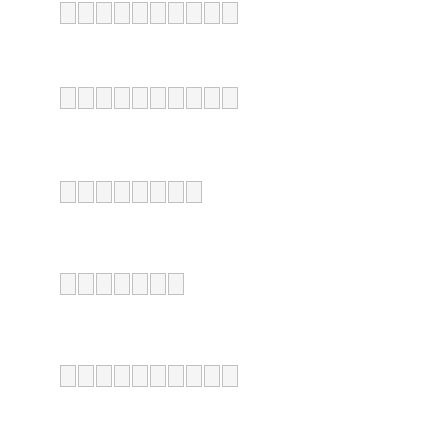██████████
██████████
████████
███████
██████████
█████████
█████████
█████████
█████████
█████████████
█████████
████████